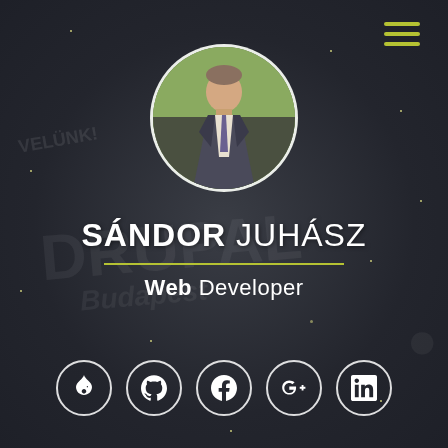[Figure (photo): Profile photo of Sándor Juhász — a man in a suit with a tie, standing outdoors, shown in a circular crop with white border]
SÁNDOR JUHÁSZ
Web Developer
[Figure (infographic): Row of five circular social media icons: Drupal, GitHub, Facebook, Google+, LinkedIn]